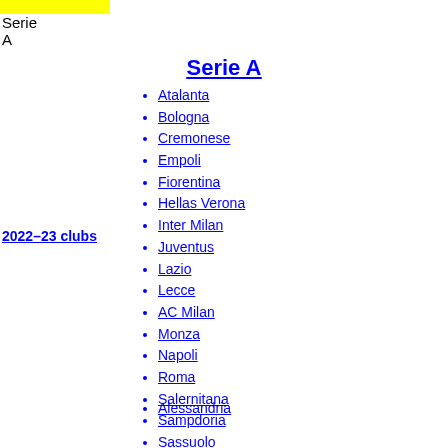Serie A
Serie A
2022–23 clubs
Atalanta
Bologna
Cremonese
Empoli
Fiorentina
Hellas Verona
Inter Milan
Juventus
Lazio
Lecce
AC Milan
Monza
Napoli
Roma
Salernitana
Sampdoria
Sassuolo
Spezia
Torino
Udinese
Alessandria